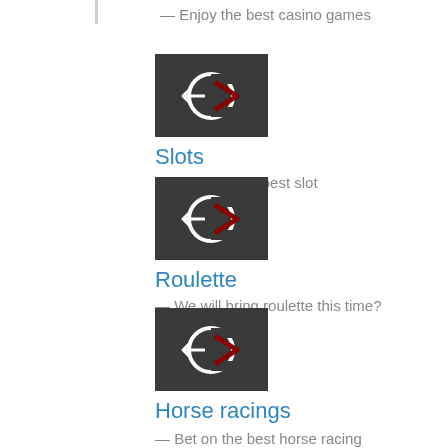— Enjoy the best casino games
[Figure (logo): Dark square logo with stylized C and arrow/chevron shapes in white and dark red]
Slots
— Discover the best slot
[Figure (logo): Dark square logo with stylized C and arrow/chevron shapes in white and dark red]
Roulette
— We will bring roulette this time?
[Figure (logo): Dark square logo with stylized C and arrow/chevron shapes in white and dark red]
Horse racings
— Bet on the best horse racing